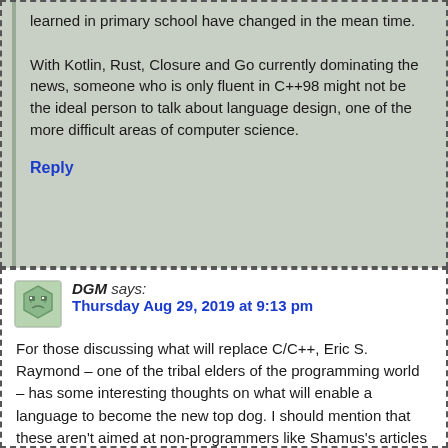learned in primary school have changed in the mean time.

With Kotlin, Rust, Closure and Go currently dominating the news, someone who is only fluent in C++98 might not be the ideal person to talk about language design, one of the more difficult areas of computer science.
Reply
DGM says:
Thursday Aug 29, 2019 at 9:13 pm
For those discussing what will replace C/C++, Eric S. Raymond – one of the tribal elders of the programming world – has some interesting thoughts on what will enable a language to become the new top dog. I should mention that these aren't aimed at non-programmers like Shamus's articles are: